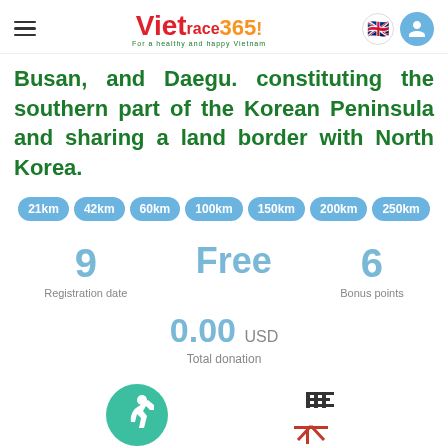Vietrace365 — For a healthy and happy Vietnam
Busan, and Daegu. constituting the southern part of the Korean Peninsula and sharing a land border with North Korea.
21km
42km
60km
100km
150km
200km
250km
9
Registration date
Free
6
Bonus points
0.00 USD
Total donation
[Figure (illustration): Runner icon in teal circle]
[Figure (illustration): Checkered racing flag icon]
Complete the race in a